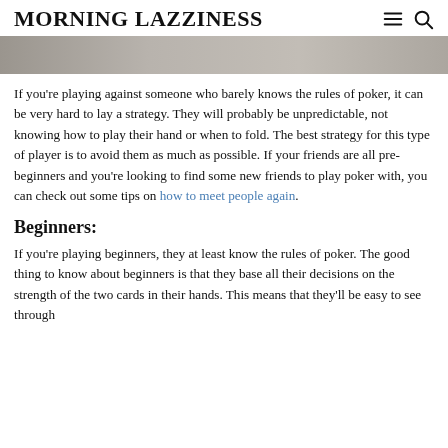MORNING LAZZINESS
[Figure (photo): Blurred grey/brown background image, partial view of an outdoor or indoor scene]
If you're playing against someone who barely knows the rules of poker, it can be very hard to lay a strategy. They will probably be unpredictable, not knowing how to play their hand or when to fold. The best strategy for this type of player is to avoid them as much as possible. If your friends are all pre-beginners and you're looking to find some new friends to play poker with, you can check out some tips on how to meet people again.
Beginners:
If you're playing beginners, they at least know the rules of poker. The good thing to know about beginners is that they base all their decisions on the strength of the two cards in their hands. This means that they'll be easy to see through